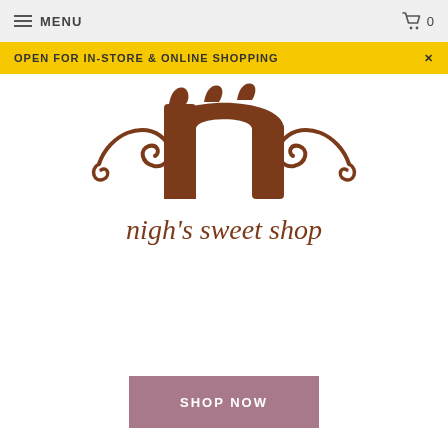MENU   🛒 0
OPEN FOR IN-STORE & ONLINE SHOPPING
[Figure (logo): Nigh's Sweet Shop logo — stylized brown lowercase 'n' with chocolate drip texture, flanked by decorative scroll flourishes; text below reads 'nigh's sweet shop' in brown serif font]
SHOP NOW